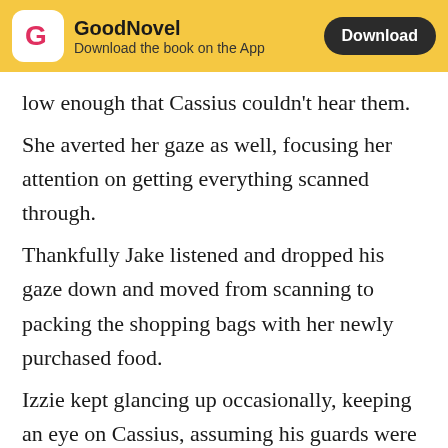GoodNovel – Download the book on the App
low enough that Cassius couldn't hear them. She averted her gaze as well, focusing her attention on getting everything scanned through. Thankfully Jake listened and dropped his gaze down and moved from scanning to packing the shopping bags with her newly purchased food. Izzie kept glancing up occasionally, keeping an eye on Cassius, assuming his guards were waiting in the wings or something. It was disproven when he grabbed his bag and made his way towards the exit. No one joined him, not once.